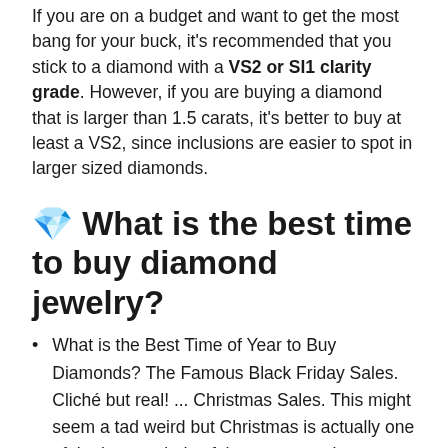If you are on a budget and want to get the most bang for your buck, it's recommended that you stick to a diamond with a VS2 or SI1 clarity grade. However, if you are buying a diamond that is larger than 1.5 carats, it's better to buy at least a VS2, since inclusions are easier to spot in larger sized diamonds.
💎 What is the best time to buy diamond jewelry?
What is the Best Time of Year to Buy Diamonds? The Famous Black Friday Sales. Cliché but real! ... Christmas Sales. This might seem a tad weird but Christmas is actually one of the best periods of the year to make